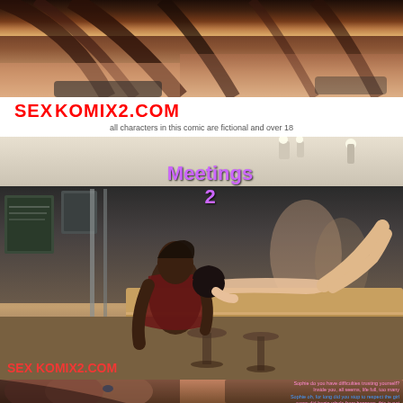[Figure (illustration): Top panel showing close-up of animated character with brown hair against dark background]
SEXKOMIX2.COM
all characters in this comic are fictional and over 18
[Figure (illustration): Middle panel showing 3D rendered comic scene titled 'Meetings 2' with two characters in a bar/cafe setting. Watermark SEXKOMIX2.COM in lower left.]
[Figure (illustration): Bottom panel showing close-up of dark-haired female character with dialogue text in pink, blue, red, and orange colors on the right side]